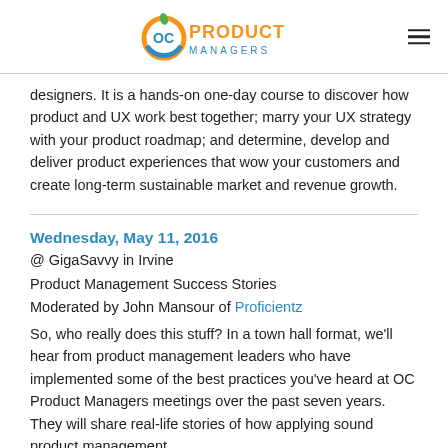OC PRODUCT MANAGERS
designers. It is a hands-on one-day course to discover how product and UX work best together; marry your UX strategy with your product roadmap; and determine, develop and deliver product experiences that wow your customers and create long-term sustainable market and revenue growth.
Wednesday, May 11, 2016
@ GigaSavvy in Irvine
Product Management Success Stories
Moderated by John Mansour of Proficientz
So, who really does this stuff? In a town hall format, we'll hear from product management leaders who have implemented some of the best practices you've heard at OC Product Managers meetings over the past seven years. They will share real-life stories of how applying sound product management